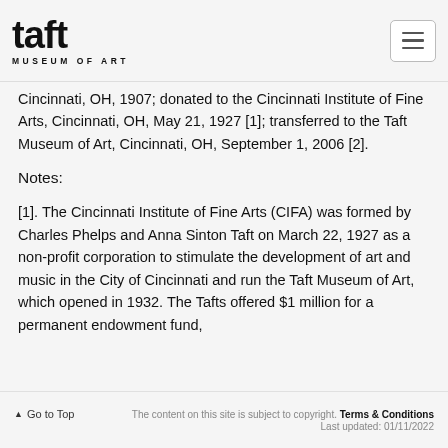taft MUSEUM OF ART
Cincinnati, OH, 1907; donated to the Cincinnati Institute of Fine Arts, Cincinnati, OH, May 21, 1927 [1]; transferred to the Taft Museum of Art, Cincinnati, OH, September 1, 2006 [2].
Notes:
[1]. The Cincinnati Institute of Fine Arts (CIFA) was formed by Charles Phelps and Anna Sinton Taft on March 22, 1927 as a non-profit corporation to stimulate the development of art and music in the City of Cincinnati and run the Taft Museum of Art, which opened in 1932. The Tafts offered $1 million for a permanent endowment fund,
Go to Top | The content on this site is subject to copyright. Terms & Conditions | Last updated: 01/11/2022